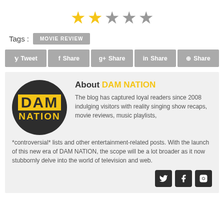[Figure (infographic): 5-star rating display: 2 filled gold stars and 3 empty grey stars]
Tags : MOVIE REVIEW
Tweet  Share  g+ Share  in Share  Share
[Figure (logo): DAM NATION circular dark logo with yellow text]
About DAM NATION
The blog has captured loyal readers since 2008 indulging visitors with reality singing show recaps, movie reviews, music playlists, *controversial* lists and other entertainment-related posts. With the launch of this new era of DAM NATION, the scope will be a lot broader as it now stubbornly delve into the world of television and web.